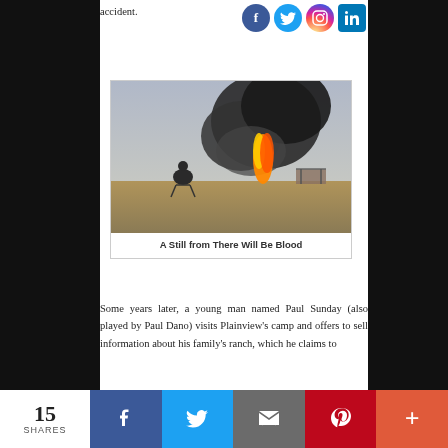accident.
[Figure (photo): A still from the film 'There Will Be Blood' showing a person sitting on a stool watching a large oil well fire with black smoke billowing into the sky.]
A Still from There Will Be Blood
Some years later, a young man named Paul Sunday (also played by Paul Dano) visits Plainview's camp and offers to sell information about his family's ranch, which he claims to
15 SHARES